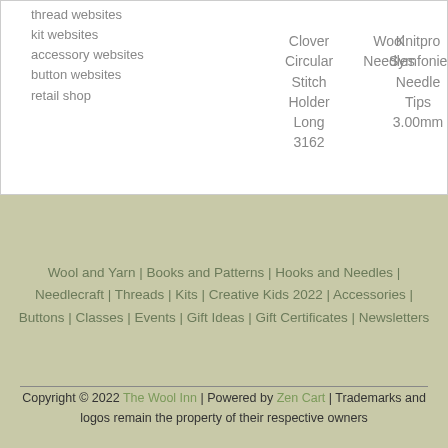thread websites
kit websites
accessory websites
button websites
retail shop
Clover Circular Stitch Holder Long 3162
Wool Needles
Knitpro Symfonie Needle Tips 3.00mm
Wool and Yarn | Books and Patterns | Hooks and Needles | Needlecraft | Threads | Kits | Creative Kids 2022 | Accessories | Buttons | Classes | Events | Gift Ideas | Gift Certificates | Newsletters
Copyright © 2022 The Wool Inn | Powered by Zen Cart | Trademarks and logos remain the property of their respective owners